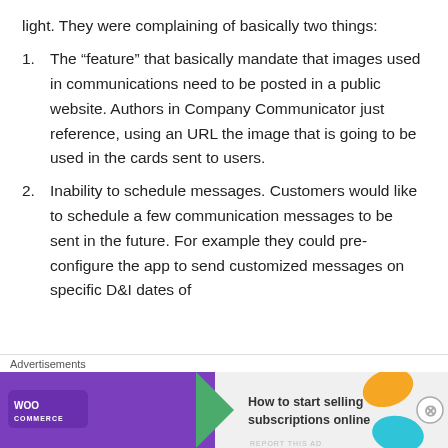light. They were complaining of basically two things:
The “feature” that basically mandate that images used in communications need to be posted in a public website. Authors in Company Communicator just reference, using an URL the image that is going to be used in the cards sent to users.
Inability to schedule messages. Customers would like to schedule a few communication messages to be sent in the future. For example they could pre-configure the app to send customized messages on specific D&I dates of
Advertisements
[Figure (other): WooCommerce advertisement banner: How to start selling subscriptions online]